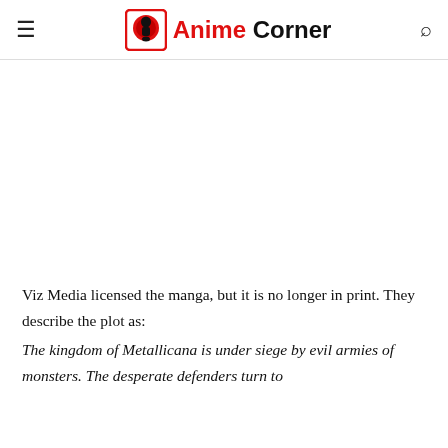Anime Corner
Viz Media licensed the manga, but it is no longer in print. They describe the plot as:
The kingdom of Metallicana is under siege by evil armies of monsters. The desperate defenders turn to